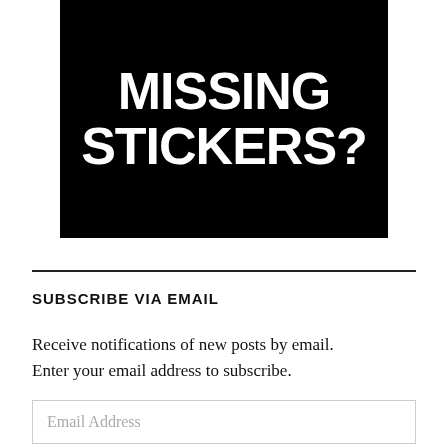[Figure (illustration): Black rectangle with large white bold uppercase text reading 'MISSING STICKERS?']
SUBSCRIBE VIA EMAIL
Receive notifications of new posts by email. Enter your email address to subscribe.
Email Address